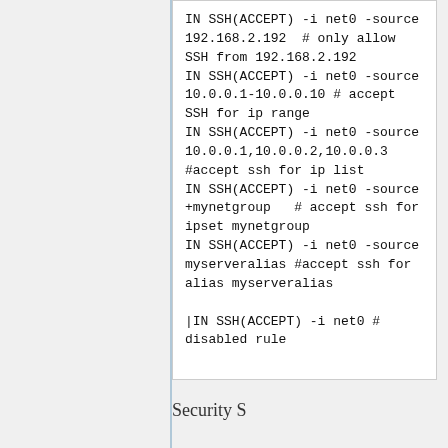IN SSH(ACCEPT) -i net0 -source 192.168.2.192  # only allow SSH from 192.168.2.192
IN SSH(ACCEPT) -i net0 -source 10.0.0.1-10.0.0.10 # accept SSH for ip range
IN SSH(ACCEPT) -i net0 -source 10.0.0.1,10.0.0.2,10.0.0.3 #accept ssh for ip list
IN SSH(ACCEPT) -i net0 -source +mynetgroup   # accept ssh for ipset mynetgroup
IN SSH(ACCEPT) -i net0 -source myserveralias #accept ssh for alias myserveralias

|IN SSH(ACCEPT) -i net0 # disabled rule
Security S...